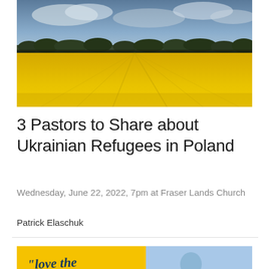[Figure (photo): Aerial photo of a vast yellow rapeseed/canola field with a tree line and overcast sky in the background]
3 Pastors to Share about Ukrainian Refugees in Poland
Wednesday, June 22, 2022, 7pm at Fraser Lands Church
Patrick Elaschuk
[Figure (photo): Promotional graphic split into yellow and light blue halves. Yellow left side shows handwritten-style text reading "love the strangers" and blue right side shows a partial figure.]